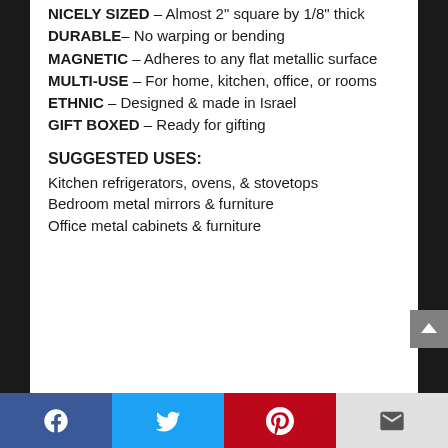NICELY SIZED – Almost 2" square by 1/8" thick
DURABLE– No warping or bending
MAGNETIC – Adheres to any flat metallic surface
MULTI-USE – For home, kitchen, office, or rooms
ETHNIC – Designed & made in Israel
GIFT BOXED – Ready for gifting
SUGGESTED USES:
Kitchen refrigerators, ovens, & stovetops
Bedroom metal mirrors & furniture
Office metal cabinets & furniture